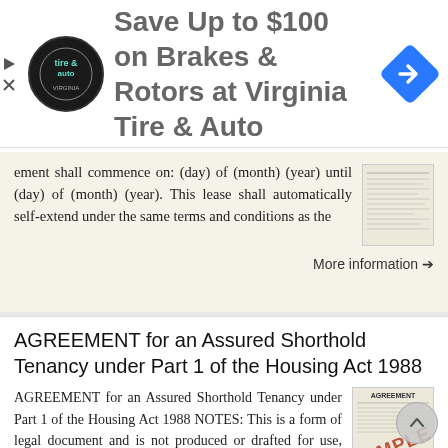[Figure (other): Advertisement banner: Save Up to $100 on Brakes & Rotors at Virginia Tire & Auto, with logo and blue diamond arrow icon]
ement shall commence on: (day) of (month) (year) until (day) of (month) (year). This lease shall automatically self-extend under the same terms and conditions as the
More information →
AGREEMENT for an Assured Shorthold Tenancy under Part 1 of the Housing Act 1988
AGREEMENT for an Assured Shorthold Tenancy under Part 1 of the Housing Act 1988 NOTES: This is a form of legal document and is not produced or drafted for use, without technical assistance, by person unfamiliar